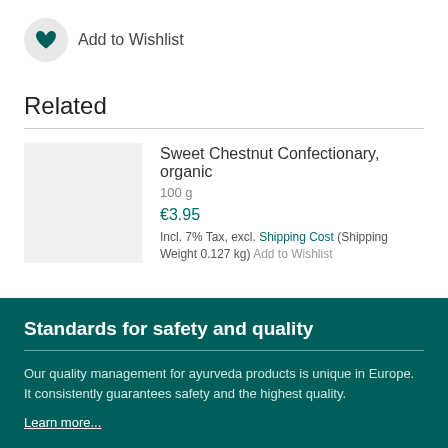Add to Wishlist
Related
Sweet Chestnut Confectionary, organic
100 g
€3.95
Incl. 7% Tax, excl. Shipping Cost (Shipping Weight 0.127 kg) Add to Wishlist
Standards for safety and quality
Our quality management for ayurveda products is unique in Europe. It consistently guarantees safety and the highest quality.
Learn more...